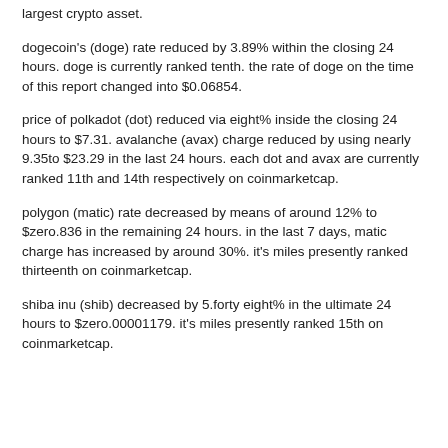largest crypto asset.
dogecoin's (doge) rate reduced by 3.89% within the closing 24 hours. doge is currently ranked tenth. the rate of doge on the time of this report changed into $0.06854.
price of polkadot (dot) reduced via eight% inside the closing 24 hours to $7.31. avalanche (avax) charge reduced by using nearly 9.35to $23.29 in the last 24 hours. each dot and avax are currently ranked 11th and 14th respectively on coinmarketcap.
polygon (matic) rate decreased by means of around 12% to $zero.836 in the remaining 24 hours. in the last 7 days, matic charge has increased by around 30%. it's miles presently ranked thirteenth on coinmarketcap.
shiba inu (shib) decreased by 5.forty eight% in the ultimate 24 hours to $zero.00001179. it's miles presently ranked 15th on coinmarketcap.